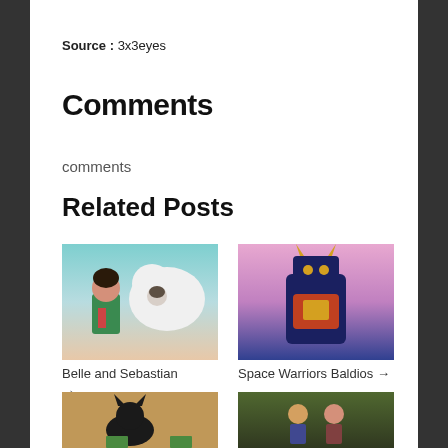Source : 3x3eyes
Comments
comments
Related Posts
[Figure (photo): Anime illustration of a boy with a large white dog (Belle and Sebastian)]
[Figure (photo): Anime illustration of a robot warrior in space (Space Warriors Baldios)]
Belle and Sebastian →
Space Warriors Baldios →
[Figure (photo): Anime illustration of a black cat character on brown background]
[Figure (photo): Anime illustration of characters in a scene]